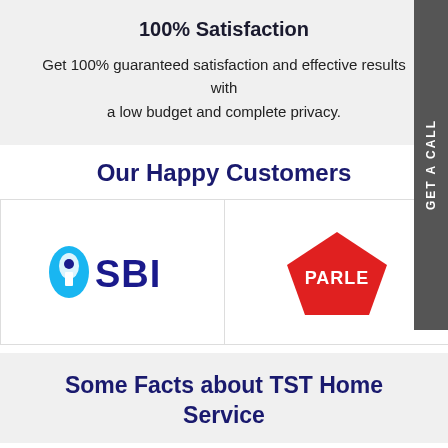100% Satisfaction
Get 100% guaranteed satisfaction and effective results with a low budget and complete privacy.
Our Happy Customers
[Figure (logo): SBI (State Bank of India) logo — blue key icon and 'SBI' text in dark blue with cyan circle]
[Figure (logo): Parle logo — white PARLE text on a red pentagon shape]
Some Facts about TST Home Service